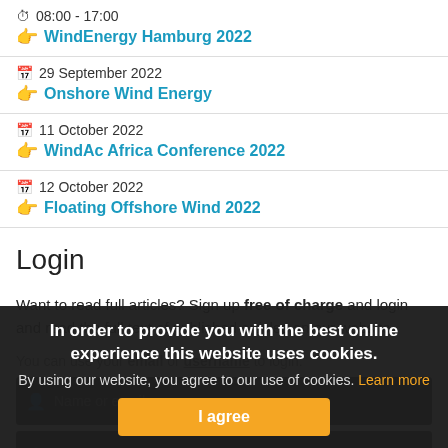08:00 - 17:00 | WindEnergy Hamburg 2022
29 September 2022 | Onshore Wind Energy
11 October 2022 | WindAc Africa Conference 2022
12 October 2022 | Floating Offshore Wind 2022
Login
Want to read full articles? Sign up free of charge and login and read the full text of published articles on our website.
You can use your email or username to login.
In order to provide you with the best online experience this website uses cookies.
By using our website, you agree to our use of cookies. Learn more
I agree